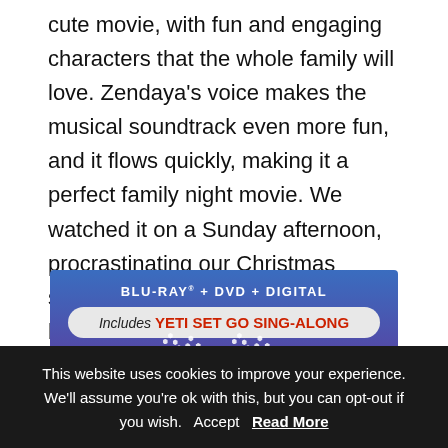cute movie, with fun and engaging characters that the whole family will love. Zendaya's voice makes the musical soundtrack even more fun, and it flows quickly, making it a perfect family night movie. We watched it on a Sunday afternoon, procrastinating our Christmas shopping, laughing together over a big bowl of popcorn.
[Figure (other): Blu-ray + DVD + Digital product banner with blue/purple gradient background, showing 'BLU-RAY + DVD + DIGITAL' text at top, a white banner reading 'Includes YETI SET GO SING-ALONG' in red bold text, and partial snowman/movie imagery below.]
This website uses cookies to improve your experience. We'll assume you're ok with this, but you can opt-out if you wish.  Accept  Read More